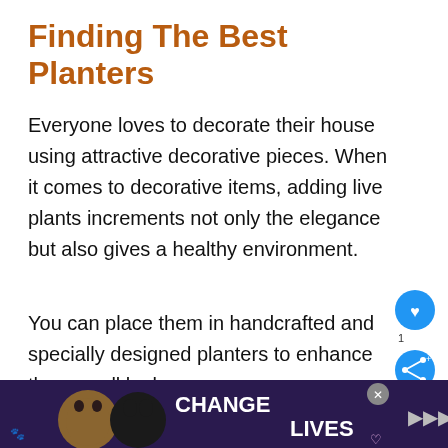Finding The Best Planters
Everyone loves to decorate their house using attractive decorative pieces. When it comes to decorative items, adding live plants increments not only the elegance but also gives a healthy environment.
You can place them in handcrafted and specially designed planters to enhance the overall look o
We use cookies on our website to give you the most relevant experience by remembering your preferences and. By clicking “Accept”, you consent to the use of AL. Do not sell my personal information.
[Figure (screenshot): Advertisement banner at bottom: dark purple background with cat images and text reading CHANGE LIVES]
[Figure (infographic): Floating UI elements: blue heart button, share button with count 1, and a What's Next promo card showing 5 Best Liner For Raised...]